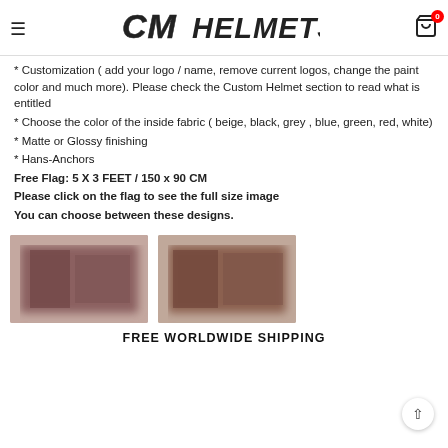CM HELMETS
* Customization ( add your logo / name, remove current logos, change the paint color and much more). Please check the Custom Helmet section to read what is entitled
* Choose the color of the inside fabric ( beige, black, grey , blue, green, red, white)
* Matte or Glossy finishing
* Hans-Anchors
Free Flag: 5 X 3 FEET / 150 x 90 CM
Please click on the flag to see the full size image
You can choose between these designs.
[Figure (photo): Two blurred flag design images side by side]
FREE WORLDWIDE SHIPPING